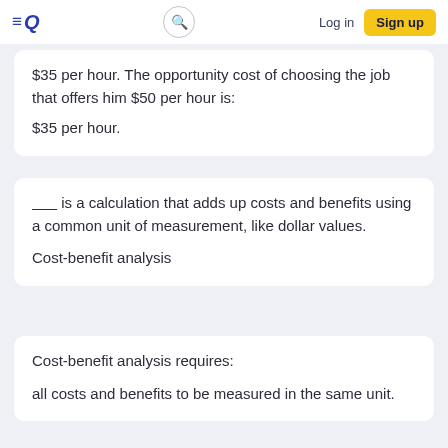≡Q  [search]  Log in  Sign up
$35 per hour. The opportunity cost of choosing the job that offers him $50 per hour is:
$35 per hour.
_____ is a calculation that adds up costs and benefits using a common unit of measurement, like dollar values.
Cost-benefit analysis
Cost-benefit analysis requires:
all costs and benefits to be measured in the same unit.